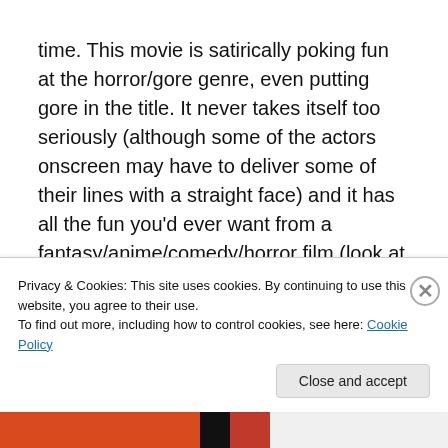time. This movie is satirically poking fun at the horror/gore genre, even putting gore in the title. It never takes itself too seriously (although some of the actors onscreen may have to deliver some of their lines with a straight face) and it has all the fun you'd ever want from a fantasy/anime/comedy/horror film (look at all those genres in a line…). I was fascinated and swept away by this Japanese wonder.
Privacy & Cookies: This site uses cookies. By continuing to use this website, you agree to their use. To find out more, including how to control cookies, see here: Cookie Policy
Close and accept